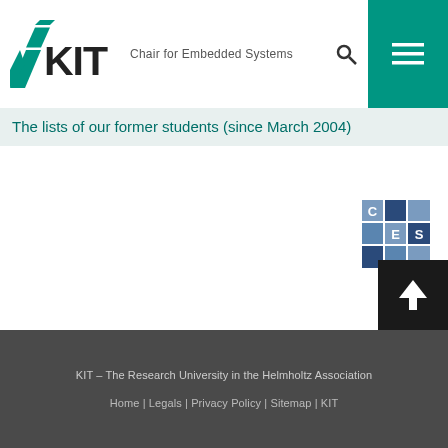KIT — Chair for Embedded Systems
The lists of our former students (since March 2004)
[Figure (logo): CES logo — Chair for Embedded Systems, mosaic square logo with letters C, E, S in blue/teal squares]
KIT – The Research University in the Helmholtz Association
Home | Legals | Privacy Policy | Sitemap | KIT